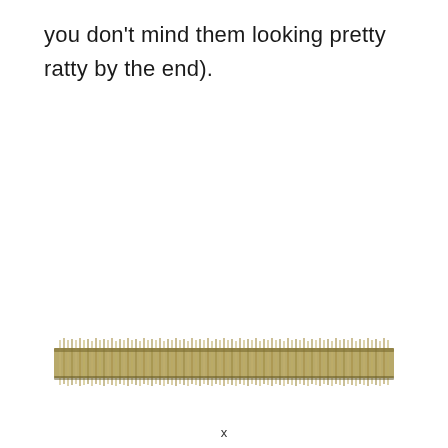you don't mind them looking pretty ratty by the end).
[Figure (photo): A horizontal strip showing a fringe or brush-like texture made of tightly packed fibres or strands, appearing in a golden/olive tan color, resembling the edge of a woven mat or fringe trim.]
x